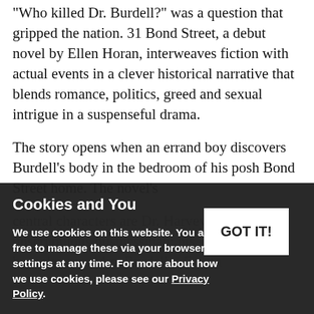"Who killed Dr. Burdell?" was a question that gripped the nation. 31 Bond Street, a debut novel by Ellen Horan, interweaves fiction with actual events in a clever historical narrative that blends romance, politics, greed and sexual intrigue in a suspenseful drama.
The story opens when an errand boy discovers Burdell's body in the bedroom of his posh Bond Street home. The novel's central characters are Dr. Harvey Burdell, a [unscrupulous businessman; his...]
Cookies and You
We use cookies on this website. You are free to manage these via your browser settings at any time. For more about how we use cookies, please see our Privacy Policy.